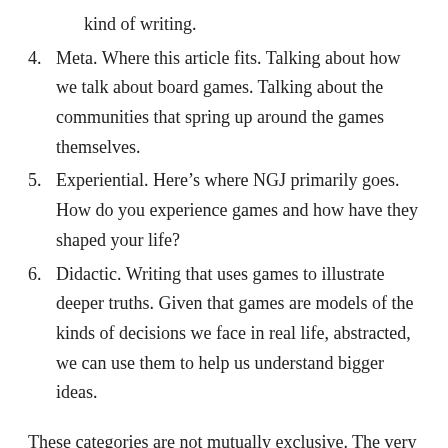kind of writing.
4. Meta. Where this article fits. Talking about how we talk about board games. Talking about the communities that spring up around the games themselves.
5. Experiential. Here’s where NGJ primarily goes. How do you experience games and how have they shaped your life?
6. Didactic. Writing that uses games to illustrate deeper truths. Given that games are models of the kinds of decisions we face in real life, abstracted, we can use them to help us understand bigger ideas.
These categories are not mutually exclusive. The very best NGJ will have bits of categories 4, 5, and 6. The very best reviews will fit in both 1 and 2. But I think they’re relatively useful